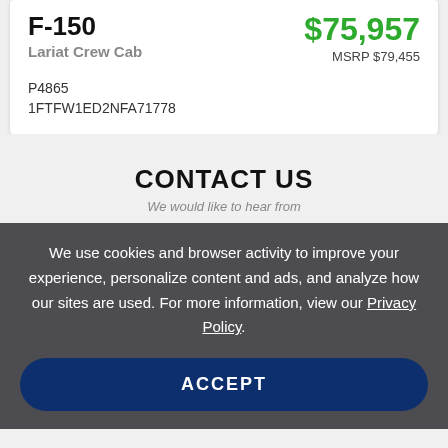F-150
Lariat Crew Cab
$75,957
MSRP $79,455
P4865
1FTFW1ED2NFA71778
CONTACT US
We use cookies and browser activity to improve your experience, personalize content and ads, and analyze how our sites are used. For more information, view our Privacy Policy.